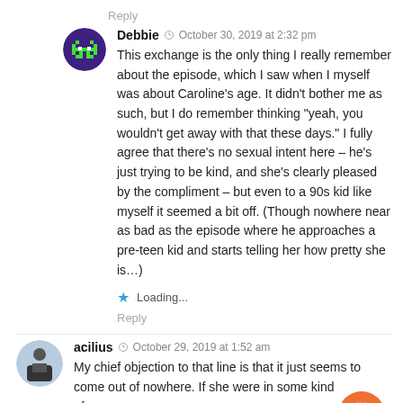Reply
[Figure (illustration): Purple circular avatar with green pixel-art alien/robot character]
Debbie  October 30, 2019 at 2:32 pm
This exchange is the only thing I really remember about the episode, which I saw when I myself was about Caroline's age. It didn't bother me as such, but I do remember thinking "yeah, you wouldn't get away with that these days." I fully agree that there's no sexual intent here – he's just trying to be kind, and she's clearly pleased by the compliment – but even to a 90s kid like myself it seemed a bit off. (Though nowhere near as bad as the episode where he approaches a pre-teen kid and starts telling her how pretty she is…)
★ Loading...
Reply
[Figure (illustration): Light blue circular avatar with a man in dark clothing]
acilius  October 29, 2019 at 1:52 am
My chief objection to that line is that it just seems to come out of nowhere. If she were in some kind of emotional state and her displays of intelligence weren't
[Figure (illustration): Orange circular button with a coffee cup icon (Buy Me a Coffee widget)]